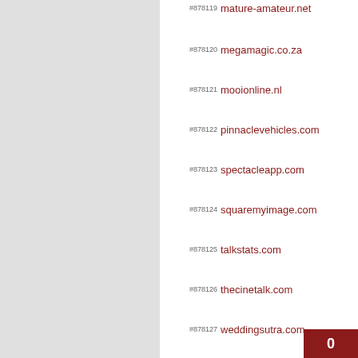#878119 mature-amateur.net
#878120 megamagic.co.za
#878121 mooionline.nl
#878122 pinnaclevehicles.com
#878123 spectacleapp.com
#878124 squaremyimage.com
#878125 talkstats.com
#878126 thecinetalk.com
#878127 weddingsutra.com
#878128 weddingwishlist.com
#878129 yomovies.mx
#878130 joytunes.com
#878131 mersuforum.net